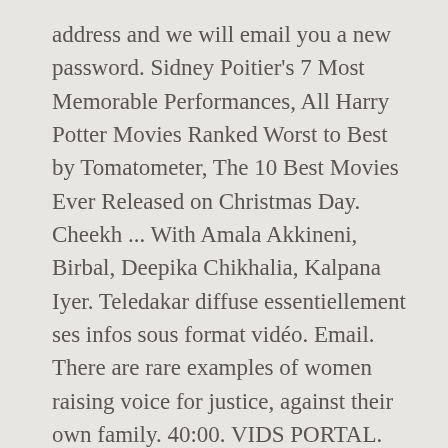address and we will email you a new password. Sidney Poitier's 7 Most Memorable Performances, All Harry Potter Movies Ranked Worst to Best by Tomatometer, The 10 Best Movies Ever Released on Christmas Day. Cheekh ... With Amala Akkineni, Birbal, Deepika Chikhalia, Kalpana Iyer. Teledakar diffuse essentiellement ses infos sous format vidéo. Email. There are rare examples of women raising voice for justice, against their own family. 40:00. VIDS PORTAL. Visit Official Website comments. Thakur (Madan Puri) was a cruel man in the past. Mannat is very close to her two best friends, Haya and Nayab. Aijaz Aslam too impressed with his performance as